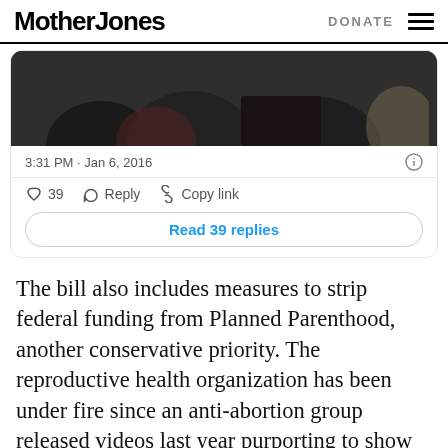Mother Jones | DONATE
[Figure (screenshot): Embedded tweet screenshot showing a dark photo of people at a conference table, timestamp '3:31 PM · Jan 6, 2016', 39 likes, Reply and Copy link actions, and a 'Read 39 replies' button]
The bill also includes measures to strip federal funding from Planned Parenthood, another conservative priority. The reproductive health organization has been under fire since an anti-abortion group released videos last year purporting to show officials from the organization discussing the sale of fetal tissue.